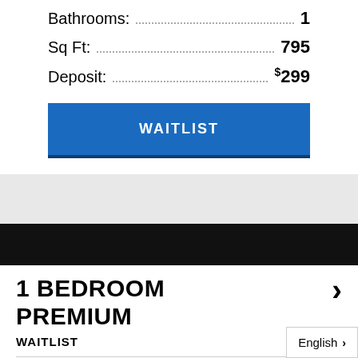Bathrooms: 1
Sq Ft: 795
Deposit: $299
WAITLIST
1 BEDROOM PREMIUM
WAITLIST
$1219-$1269 /MO